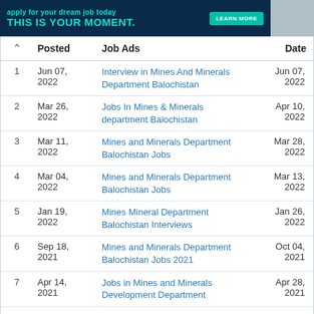[Figure (illustration): Dark navy banner ad with teal text 'THIS IS YOUR MOMENT.' and a 'LEARN MORE' button, with a photo on the right side.]
|  | Posted | Job Ads | Date |
| --- | --- | --- | --- |
| 1 | Jun 07, 2022 | Interview in Mines And Minerals Department Balochistan | Jun 07, 2022 |
| 2 | Mar 26, 2022 | Jobs In Mines & Minerals department Balochistan | Apr 10, 2022 |
| 3 | Mar 11, 2022 | Mines and Minerals Department Balochistan Jobs | Mar 28, 2022 |
| 4 | Mar 04, 2022 | Mines and Minerals Department Balochistan Jobs | Mar 13, 2022 |
| 5 | Jan 19, 2022 | Mines Mineral Department Balochistan Interviews | Jan 26, 2022 |
| 6 | Sep 18, 2021 | Mines and Minerals Department Balochistan Jobs 2021 | Oct 04, 2021 |
| 7 | Apr 14, 2021 | Jobs in Mines and Minerals Development Department | Apr 28, 2021 |
| 8 | Nov 30, 2012 | interviews Mines Department Balochistan | Dec 10, 2012 |